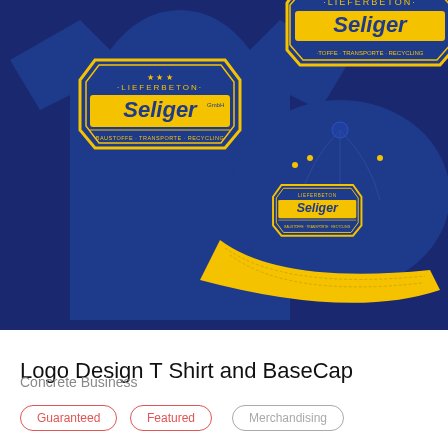[Figure (photo): Navy blue t-shirt with Lieferbeton Seliger logo badge (yellow on blue, text: LIEFERBETON, Seliger, BAUSTOFFE - TRANSPORTE - RECYCLING) on the front, and a navy blue snapback cap with yellow brim also bearing the same logo badge, photographed on dark blue background. Another partial logo badge visible top-right.]
Logo Design T Shirt and BaseCap
Concrete Business
Guaranteed
Featured
Merchandising